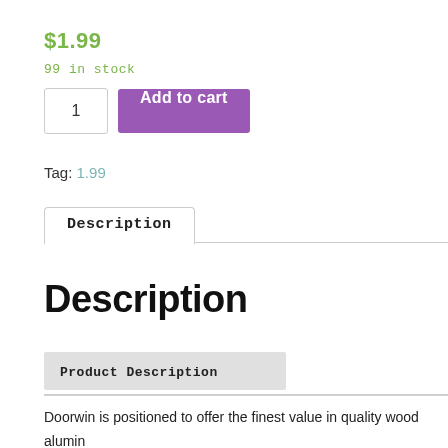$1.99
99 in stock
1   Add to cart
Tag: 1.99
Description
Description
Product Description
Doorwin is positioned to offer the finest value in quality wood aluminand beautiful products accessible to all budgets.  We strive to provicdesign and engineering team for custom projects and a talented sale